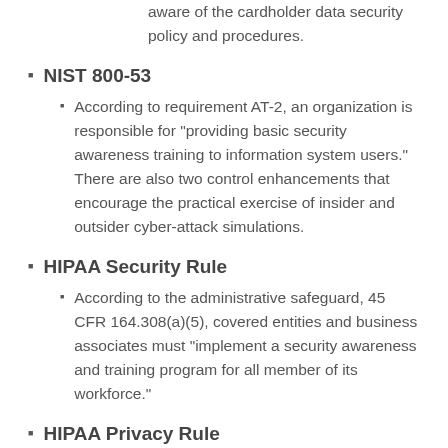aware of the cardholder data security policy and procedures.
NIST 800-53
According to requirement AT-2, an organization is responsible for “providing basic security awareness training to information system users.” There are also two control enhancements that encourage the practical exercise of insider and outsider cyber-attack simulations.
HIPAA Security Rule
According to the administrative safeguard, 45 CFR 164.308(a)(5), covered entities and business associates must “implement a security awareness and training program for all member of its workforce.”
HIPAA Privacy Rule